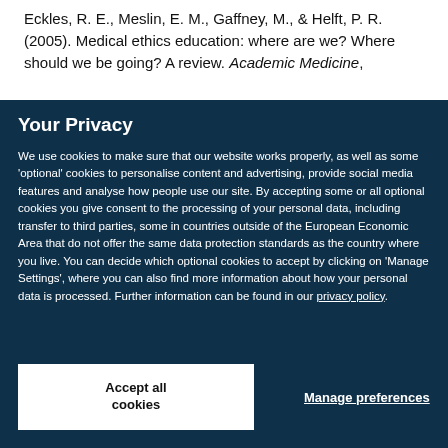Eckles, R. E., Meslin, E. M., Gaffney, M., & Helft, P. R. (2005). Medical ethics education: where are we? Where should we be going? A review. Academic Medicine,
Your Privacy
We use cookies to make sure that our website works properly, as well as some 'optional' cookies to personalise content and advertising, provide social media features and analyse how people use our site. By accepting some or all optional cookies you give consent to the processing of your personal data, including transfer to third parties, some in countries outside of the European Economic Area that do not offer the same data protection standards as the country where you live. You can decide which optional cookies to accept by clicking on 'Manage Settings', where you can also find more information about how your personal data is processed. Further information can be found in our privacy policy.
Accept all cookies
Manage preferences